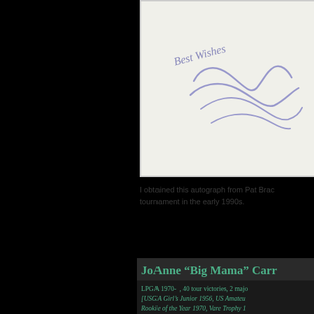[Figure (photo): Autograph on white card reading 'Best Wishes' with a signature, attributed to Pat Bradley obtained at a tournament in the early 1990s.]
I obtained this autograph from Pat Brac... tournament in the early 1990s.
JoAnne “Big Mama” Carr...
LPGA 1970- , 40 tour victories, 2 majors [USGA Girl’s Junior 1956, US Amateur... Rookie of the Year 1970, Vare Trophy 1... LPGA Hall of Fame 1982, PGA/World... Women’s Sports Hall of Fame 1987]